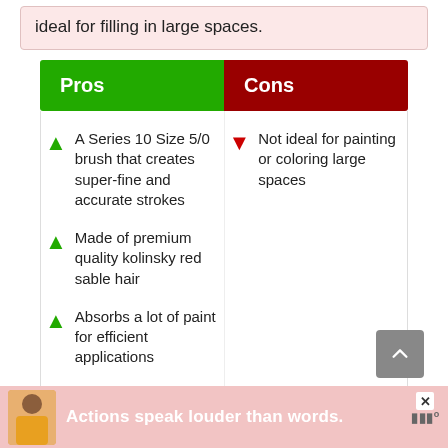ideal for filling in large spaces.
| Pros | Cons |
| --- | --- |
| A Series 10 Size 5/0 brush that creates super-fine and accurate strokes | Not ideal for painting or coloring large spaces |
| Made of premium quality kolinsky red sable hair |  |
| Absorbs a lot of paint for efficient applications |  |
| Features an… |  |
[Figure (infographic): Advertisement banner: person with yellow shirt, text 'Actions speak louder than words.']
Actions speak louder than words.